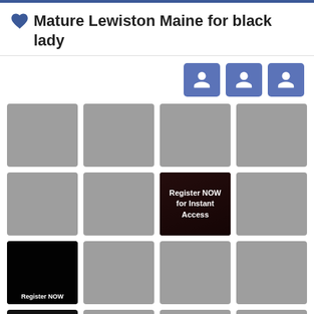💙 Mature Lewiston Maine for black lady
[Figure (screenshot): Three blue user/profile icon buttons arranged horizontally]
[Figure (screenshot): 4x4 grid of profile photo placeholders (gray boxes), with one cell showing a 'Register NOW for Instant Access' advertisement overlay with a figure image, and one black cell with 'Register NOW' text partially visible]
[Figure (screenshot): Partial row of gray and black placeholder cells at the bottom]